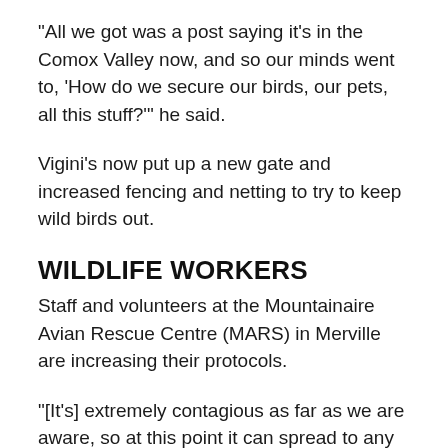"All we got was a post saying it's in the Comox Valley now, and so our minds went to, 'How do we secure our birds, our pets, all this stuff?'" he said.
Vigini's now put up a new gate and increased fencing and netting to try to keep wild birds out.
WILDLIFE WORKERS
Staff and volunteers at the Mountainaire Avian Rescue Centre (MARS) in Merville are increasing their protocols.
"[It's] extremely contagious as far as we are aware, so at this point it can spread to any species of bird. Not necessarily all birds will show symptoms," said Gylaine Andersen,